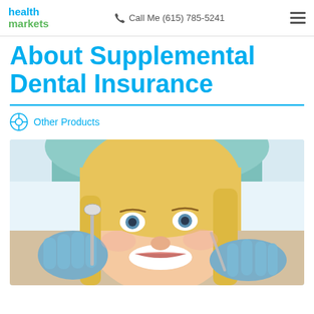health markets | Call Me (615) 785-5241
About Supplemental Dental Insurance
Other Products
[Figure (photo): A smiling blonde woman patient at a dental chair with a dentist in teal scrubs and blue latex gloves holding dental instruments near her open mouth]